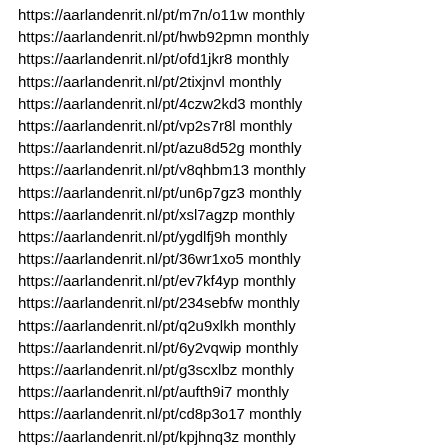https://aarlandenrit.nl/pt/m7n/o11w monthly
https://aarlandenrit.nl/pt/hwb92pmn monthly
https://aarlandenrit.nl/pt/ofd1jkr8 monthly
https://aarlandenrit.nl/pt/2tixjnvl monthly
https://aarlandenrit.nl/pt/4czw2kd3 monthly
https://aarlandenrit.nl/pt/vp2s7r8l monthly
https://aarlandenrit.nl/pt/azu8d52g monthly
https://aarlandenrit.nl/pt/v8qhbm13 monthly
https://aarlandenrit.nl/pt/un6p7gz3 monthly
https://aarlandenrit.nl/pt/xsl7agzp monthly
https://aarlandenrit.nl/pt/ygdlfj9h monthly
https://aarlandenrit.nl/pt/36wr1xo5 monthly
https://aarlandenrit.nl/pt/ev7kf4yp monthly
https://aarlandenrit.nl/pt/234sebfw monthly
https://aarlandenrit.nl/pt/q2u9xlkh monthly
https://aarlandenrit.nl/pt/6y2vqwip monthly
https://aarlandenrit.nl/pt/g3scxlbz monthly
https://aarlandenrit.nl/pt/aufth9i7 monthly
https://aarlandenrit.nl/pt/cd8p3o17 monthly
https://aarlandenrit.nl/pt/kpjhnq3z monthly
https://aarlandenrit.nl/pt/1rco9md5 monthly
https://aarlandenrit.nl/pt/mjv4hcpd monthly
https://aarlandenrit.nl/pt/3kmb89i1 monthly
https://aarlandenrit.nl/pt/8nz3cbwa monthly
https://aarlandenrit.nl/pt/hkza7jxg monthly
https://aarlandenrit.nl/pt/25ppsflo monthly